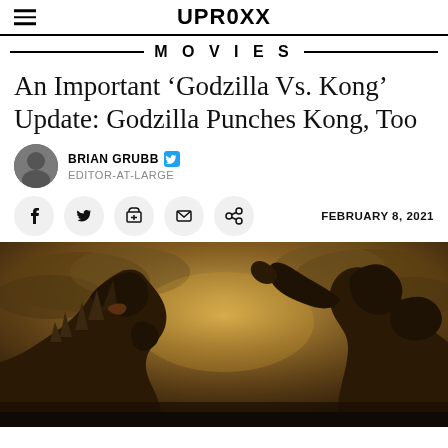UPROXX
MOVIES
An Important ‘Godzilla Vs. Kong’ Update: Godzilla Punches Kong, Too
BRIAN GRUBB  EDITOR-AT-LARGE
FEBRUARY 8, 2021
[Figure (photo): Movie still showing Godzilla on the left facing Kong on the right against a dramatic cloudy sky background]